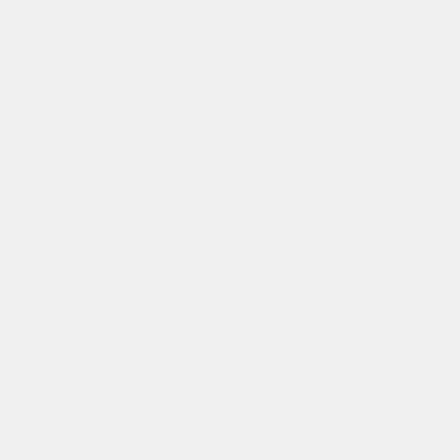ideal for multimedia applications technology for the desktop.
ROHS Weee
Share   Add to Compare
Package Contents
1x CS1792 USB 2.0 HDMI KVM
2x Custom HDMI KVM Cable Se
1x Firmware Upgrade Cable
1x Power Adapter
1x User Manual
1x Quick Start Guide
Your cart ×
TOTALUSD$0.00
Shipping and discount codes are
Checkout
Buy Now !
Awards won by this product
Features
Diagram
Specification
Applications
Support and Download
2-port HDMI USB 2.0 KVMP™ S
One USB console controls two H
2-port USB 2.0 hub built in; fully c
Independent switching of KVM, U
HDMI digital monitor support - fu
Dolby True HD and DTS HD Mas
Superior video quality - supports
Power on detection - If one of the
Supports widescreen resolutions
Multiplatform support - Windows,
Console mouse port emulation/d